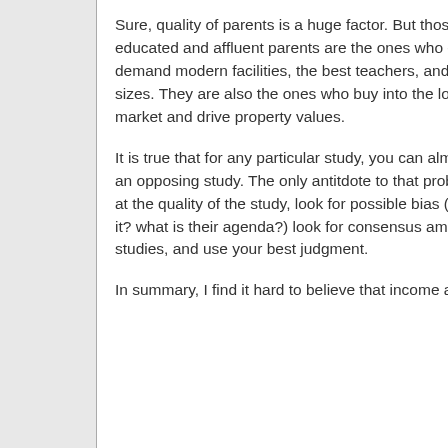Sure, quality of parents is a huge factor. But those highly educated and affluent parents are the ones who expect and demand modern facilities, the best teachers, and small class sizes. They are also the ones who buy into the local housing market and drive property values.
It is true that for any particular study, you can almost always find an opposing study. The only antitdote to that problem is to look at the quality of the study, look for possible bias (who is behind it? what is their agenda?) look for consensus among multiple studies, and use your best judgment.
In summary, I find it hard to believe that income and...